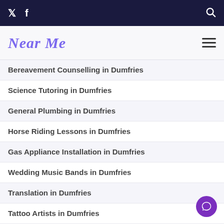Near Me — top navigation bar with Twitter, Facebook, and Search icons
Near Me
Bereavement Counselling in Dumfries
Science Tutoring in Dumfries
General Plumbing in Dumfries
Horse Riding Lessons in Dumfries
Gas Appliance Installation in Dumfries
Wedding Music Bands in Dumfries
Translation in Dumfries
Tattoo Artists in Dumfries